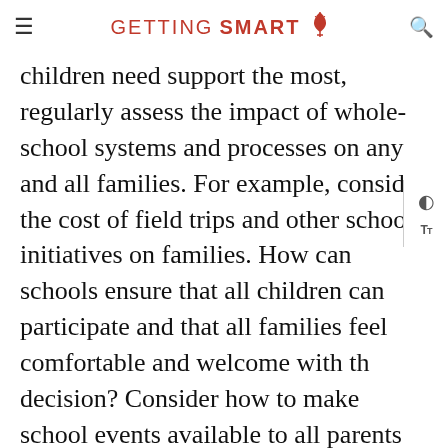GETTING SMART
children need support the most, regularly assess the impact of whole-school systems and processes on any and all families. For example, consider the cost of field trips and other school initiatives on families. How can schools ensure that all children can participate and that all families feel comfortable and welcome with th decision? Consider how to make school events available to all parents and families. Consider streaming meetings using Zoom. Utilize translators for any and all events, even PTA events not directly organized by the school. Every effort toward inclusiveness of all families creates a ripple that results in a much larger